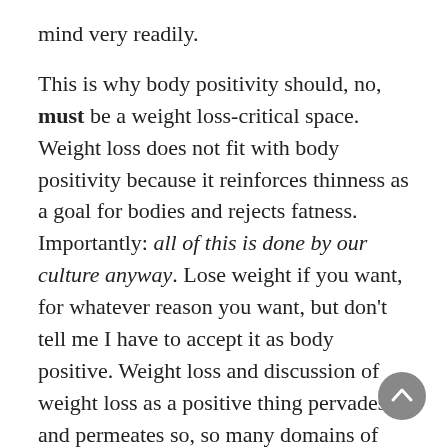mind very readily.
This is why body positivity should, no, must be a weight loss-critical space. Weight loss does not fit with body positivity because it reinforces thinness as a goal for bodies and rejects fatness. Importantly: all of this is done by our culture anyway. Lose weight if you want, for whatever reason you want, but don't tell me I have to accept it as body positive. Weight loss and discussion of weight loss as a positive thing pervades and permeates so, so many domains of our lives, especially as women. Is it not totally reasonable to state unequivocally that body positivity is one space where it's neither useful nor constructive to include it? I very, very